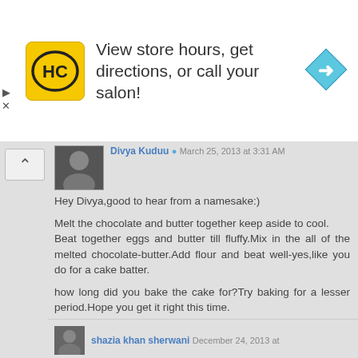[Figure (screenshot): Advertisement banner for a salon business with HC logo, text 'View store hours, get directions, or call your salon!' and a blue navigation arrow icon]
Divya Kuduu  March 25, 2013 at 3:31 AM
Hey Divya,good to hear from a namesake:)

Melt the chocolate and butter together keep aside to cool.
Beat together eggs and butter till fluffy.Mix in the all of the melted chocolate-butter.Add flour and beat well-yes,like you do for a cake batter.

how long did you bake the cake for?Try baking for a lesser period.Hope you get it right this time.

I would also suggest you to check out the link I've given where there is a video which explains the steps clearly.
shazia khan sherwani  December 24, 2013 at